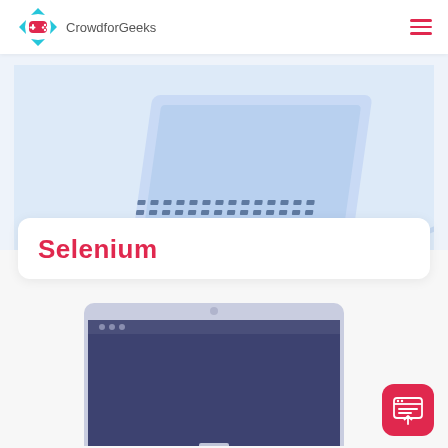CrowdforGeeks
[Figure (illustration): Isometric illustration of a laptop with keyboard visible, blue tones, on a light blue background]
Selenium
[Figure (illustration): Flat illustration of a desktop monitor/iMac with dark purple-blue screen]
[Figure (illustration): Pink rounded square button with a web/upload icon (browser window with upload arrow)]